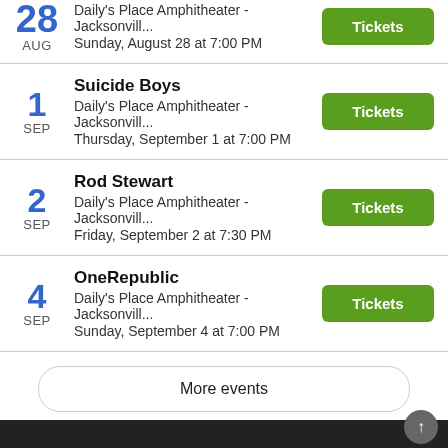28 AUG — Daily's Place Amphitheater - Jacksonvill... — Sunday, August 28 at 7:00 PM — Tickets
Suicide Boys — 1 SEP — Daily's Place Amphitheater - Jacksonvill... — Thursday, September 1 at 7:00 PM — Tickets
Rod Stewart — 2 SEP — Daily's Place Amphitheater - Jacksonvill... — Friday, September 2 at 7:30 PM — Tickets
OneRepublic — 4 SEP — Daily's Place Amphitheater - Jacksonvill... — Sunday, September 4 at 7:00 PM — Tickets
More events